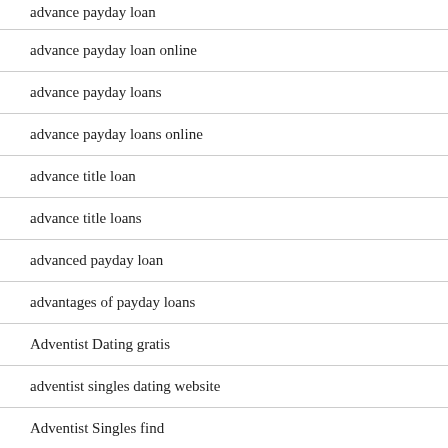advance payday loan
advance payday loan online
advance payday loans
advance payday loans online
advance title loan
advance title loans
advanced payday loan
advantages of payday loans
Adventist Dating gratis
adventist singles dating website
Adventist Singles find
adventist singles reviews